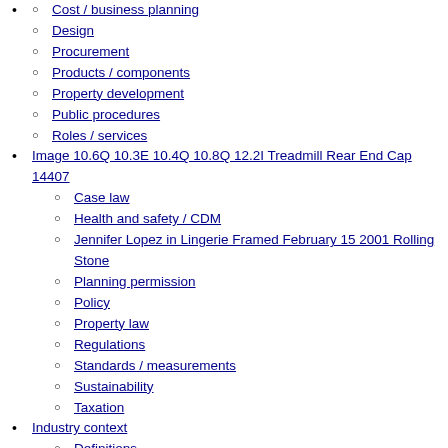Cost / business planning
Design
Procurement
Products / components
Property development
Public procedures
Roles / services
Image 10.6Q 10.3E 10.4Q 10.8Q 12.2I Treadmill Rear End Cap 14407
Case law
Health and safety / CDM
Jennifer Lopez in Lingerie Framed February 15 2001 Rolling Stone
Planning permission
Policy
Property law
Regulations
Standards / measurements
Sustainability
Taxation
Industry context
Definitions
Education
History
International